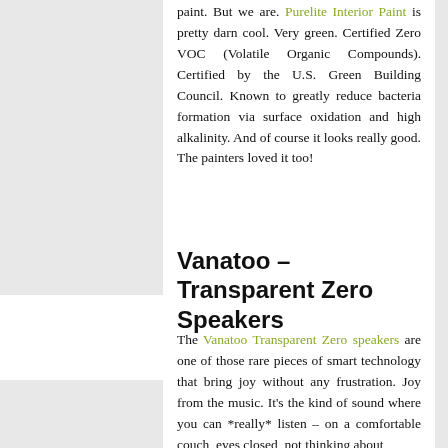paint. But we are. Purelite Interior Paint is pretty darn cool. Very green. Certified Zero VOC (Volatile Organic Compounds). Certified by the U.S. Green Building Council. Known to greatly reduce bacteria formation via surface oxidation and high alkalinity. And of course it looks really good. The painters loved it too!
Vanatoo – Transparent Zero Speakers
The Vanatoo Transparent Zero speakers are one of those rare pieces of smart technology that bring joy without any frustration. Joy from the music. It's the kind of sound where you can *really* listen – on a comfortable couch, eyes closed, not thinking about